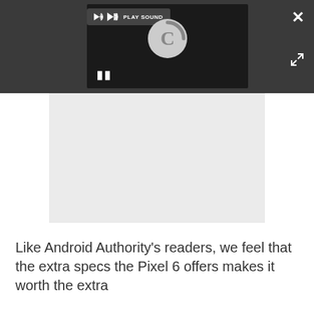[Figure (screenshot): Video player overlay on a dark gray bar at the top of the page. Shows a 'PLAY SOUND' button with speaker icon, a loading spinner (C-shaped arc on light gray circle), a pause button (two vertical bars), a close button (×) top right, and an expand button bottom right.]
[Figure (other): Gray advertisement placeholder area below the dark bar.]
Like Android Authority's readers, we feel that the extra specs the Pixel 6 offers makes it worth the extra